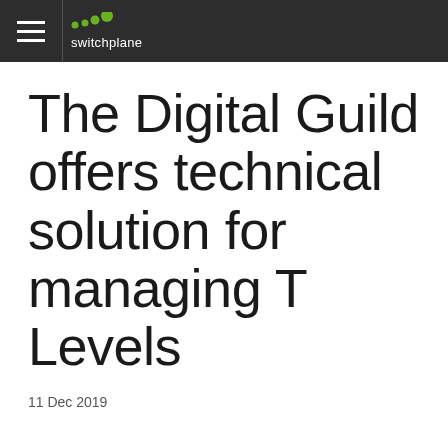switchplane
The Digital Guild offers technical solution for managing T Levels
11 Dec 2019